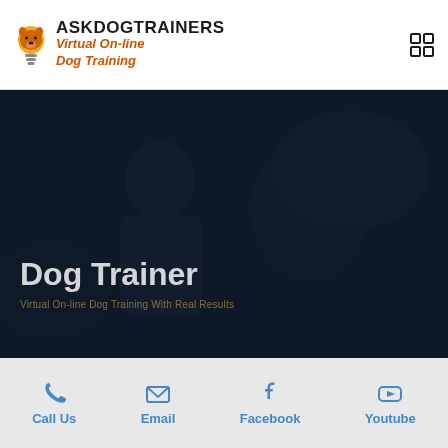[Figure (logo): AskDogTrainers logo with lightbulb/dog icon and text 'ASKDOGTRAINERS Virtual On-line Dog Training' in black and orange]
[Figure (photo): Dark-overlaid photo of a man seated with a dog (appears to be a German Shepherd), with overlay text 'Dog Trainer']
Dog Trainer
Call Us
Email
Facebook
Youtube